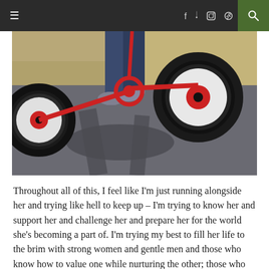≡  f  𝕏  📷  𝕡  🔍
[Figure (photo): Close-up photo of a child riding a red tricycle, showing the wheels, pedals, and sneaker-clad feet, with long shadows cast on pavement, dry grass visible in the background.]
Throughout all of this, I feel like I'm just running alongside her and trying like hell to keep up – I'm trying to know her and support her and challenge her and prepare her for the world she's becoming a part of. I'm trying my best to fill her life to the brim with strong women and gentle men and those who know how to value one while nurturing the other; those who know how to create a whole person, a wholehearted life.